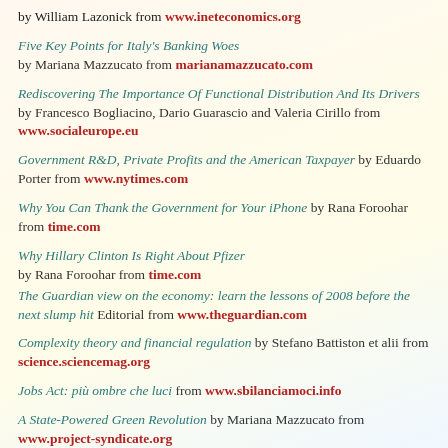by William Lazonick from www.ineteconomics.org
Five Key Points for Italy's Banking Woes by Mariana Mazzucato from marianamazzucato.com
Rediscovering The Importance Of Functional Distribution And Its Drivers by Francesco Bogliacino, Dario Guarascio and Valeria Cirillo from www.socialeurope.eu
Government R&D, Private Profits and the American Taxpayer by Eduardo Porter from www.nytimes.com
Why You Can Thank the Government for Your iPhone by Rana Foroohar from time.com
Why Hillary Clinton Is Right About Pfizer by Rana Foroohar from time.com
The Guardian view on the economy: learn the lessons of 2008 before the next slump hit Editorial from www.theguardian.com
Complexity theory and financial regulation by Stefano Battiston et alii from science.sciencemag.org
Jobs Act: più ombre che luci from www.sbilanciamoci.info
A State-Powered Green Revolution by Mariana Mazzucato from www.project-syndicate.org